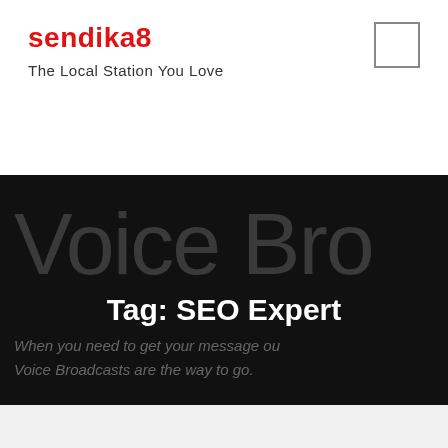sendika8
The Local Station You Love
[Figure (other): Menu icon square button in top right corner]
[Figure (screenshot): Dark hero banner with large text 'Voice Bro...' partially visible, centered bold white text 'Tag: SEO Expert', and gray italic subtext 'When you need to get your message ou...' and 'Voice Broadcasts are the way to go.']